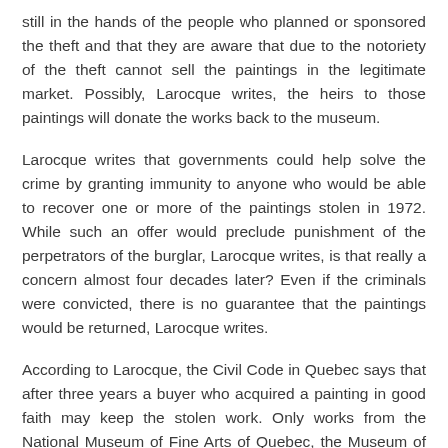still in the hands of the people who planned or sponsored the theft and that they are aware that due to the notoriety of the theft cannot sell the paintings in the legitimate market. Possibly, Larocque writes, the heirs to those paintings will donate the works back to the museum.
Larocque writes that governments could help solve the crime by granting immunity to anyone who would be able to recover one or more of the paintings stolen in 1972. While such an offer would preclude punishment of the perpetrators of the burglar, Larocque writes, is that really a concern almost four decades later? Even if the criminals were convicted, there is no guarantee that the paintings would be returned, Larocque writes.
According to Larocque, the Civil Code in Quebec says that after three years a buyer who acquired a painting in good faith may keep the stolen work. Only works from the National Museum of Fine Arts of Quebec, the Museum of Civilization and the Musé d'art contemporain de Montréal are exempt since those are national museums.